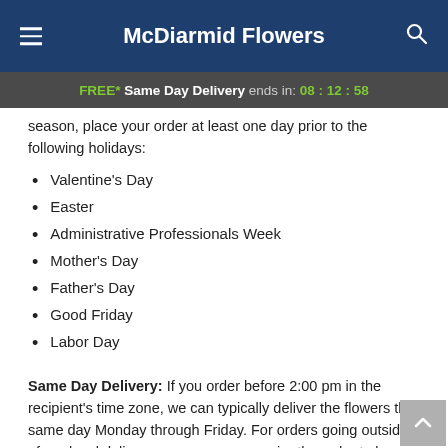McDiarmid Flowers
FREE* Same Day Delivery ends in: 08 : 12 : 58
season, place your order at least one day prior to the following holidays:
Valentine's Day
Easter
Administrative Professionals Week
Mother's Day
Father's Day
Good Friday
Labor Day
Same Day Delivery: If you order before 2:00 pm in the recipient's time zone, we can typically deliver the flowers the same day Monday through Friday. For orders going outside of our local delivery area, we may require the order to be placed by 12:00 pm for same-day delivery. For same day service on Saturday please order by 12:00 pm.